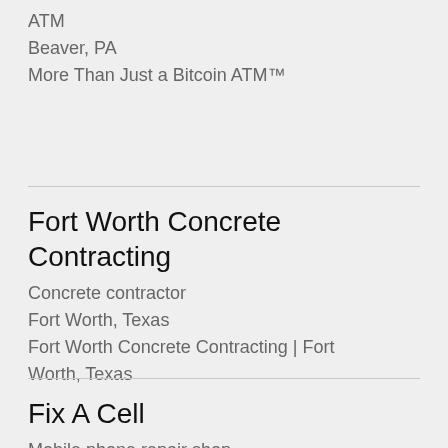ATM
Beaver, PA
More Than Just a Bitcoin ATM™
Fort Worth Concrete Contracting
Concrete contractor
Fort Worth, Texas
Fort Worth Concrete Contracting | Fort Worth, Texas
Fix A Cell
Mobile phone repair shop
Grand Prairie, TX